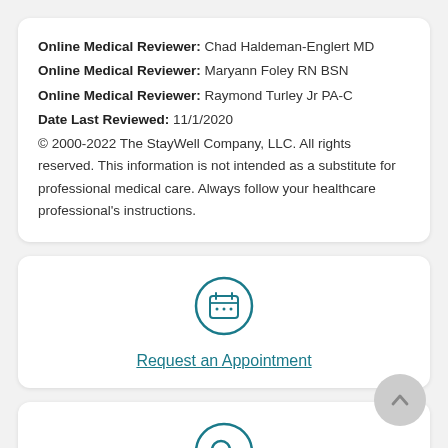Online Medical Reviewer: Chad Haldeman-Englert MD
Online Medical Reviewer: Maryann Foley RN BSN
Online Medical Reviewer: Raymond Turley Jr PA-C
Date Last Reviewed: 11/1/2020
© 2000-2022 The StayWell Company, LLC. All rights reserved. This information is not intended as a substitute for professional medical care. Always follow your healthcare professional's instructions.
[Figure (illustration): Teal circle icon with a calendar/appointment symbol inside, representing Request an Appointment]
Request an Appointment
[Figure (illustration): Teal circle icon with a magnifying glass/search symbol inside, partially visible at bottom of page]